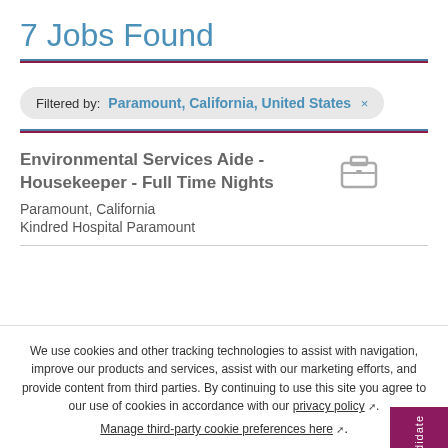7 Jobs Found
Filtered by: Paramount, California, United States ×
Environmental Services Aide - Housekeeper - Full Time Nights
Paramount, California
Kindred Hospital Paramount
We use cookies and other tracking technologies to assist with navigation, improve our products and services, assist with our marketing efforts, and provide content from third parties. By continuing to use this site you agree to our use of cookies in accordance with our privacy policy. Manage third-party cookie preferences here.